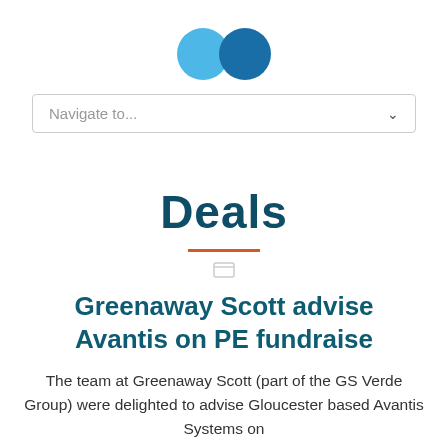[Figure (logo): Two overlapping circles logo — light blue and dark blue — representing GS Verde Group / Greenaway Scott branding]
Navigate to...
Deals
Greenaway Scott advise Avantis on PE fundraise
The team at Greenaway Scott (part of the GS Verde Group) were delighted to advise Gloucester based Avantis Systems on